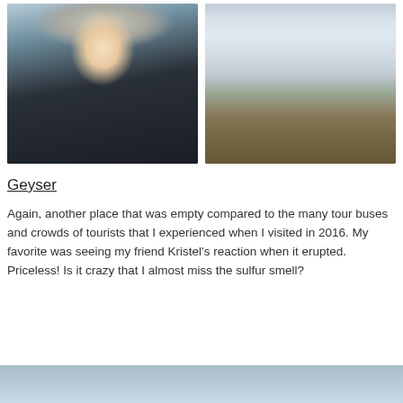[Figure (photo): Two side-by-side photos: left shows a smiling blonde woman wearing a grey beanie and dark jacket outdoors near water; right shows a waterfall with snow-covered landscape.]
Geyser
Again, another place that was empty compared to the many tour buses and crowds of tourists that I experienced when I visited in 2016. My favorite was seeing my friend Kristel's reaction when it erupted. Priceless! Is it crazy that I almost miss the sulfur smell?
[Figure (photo): Partial view of another outdoor photo at bottom of page, appears to be a sky or water scene.]